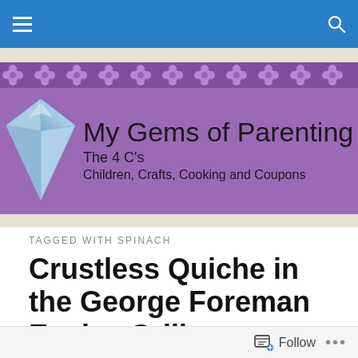Navigation bar with hamburger menu and search icon
[Figure (logo): My Gems of Parenting blog banner with purple background, flower pattern, diamond graphic, and text: My Gems of Parenting, The 4 C's, Children, Crafts, Cooking and Coupons]
TAGGED WITH SPINACH
Crustless Quiche in the George Foreman Evolve Grill
I love that my mom always gets me kitchen items for gifts. Past gifts have included a food processor, a handheld
Follow ...